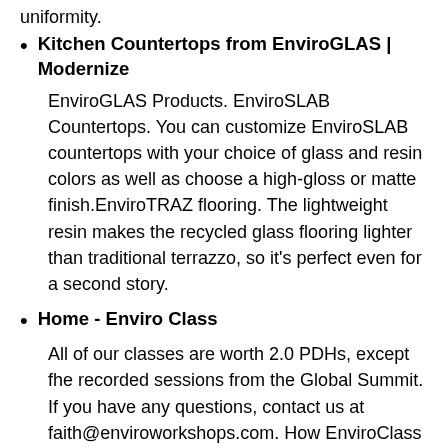Kitchen Countertops from EnviroGLAS | Modernize
EnviroGLAS Products. EnviroSLAB Countertops. You can customize EnviroSLAB countertops with your choice of glass and resin colors as well as choose a high-gloss or matte finish.EnviroTRAZ flooring. The lightweight resin makes the recycled glass flooring lighter than traditional terrazzo, so it's perfect even for a second story.
Home - Enviro Class
All of our classes are worth 2.0 PDHs, except fhe recorded sessions from the Global Summit. If you have any questions, contact us at faith@enviroworkshops.com. How EnviroClass Works. Every week we offer new, live classes (a.k.a. - webinars) that focus on training for Remediation, Vapor Intrusion, Wastewater, Air Quality or Air Monitoring.